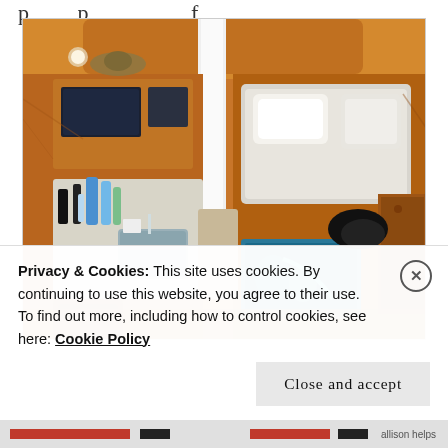[Figure (photo): Aerial/overhead view of a sailboat interior (cabin/galley area) showing teak wood finishes, a stainless steel sink, cleaning bottles, white cushioned seating, a white mast passing through the cabin, and various gear and equipment stored throughout.]
Privacy & Cookies: This site uses cookies. By continuing to use this website, you agree to their use.
To find out more, including how to control cookies, see here: Cookie Policy
Close and accept